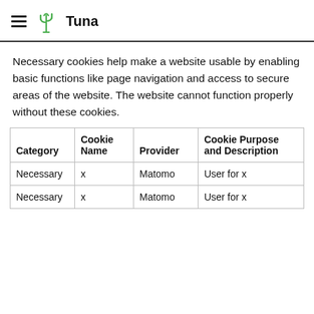Tuna
Necessary cookies help make a website usable by enabling basic functions like page navigation and access to secure areas of the website. The website cannot function properly without these cookies.
| Category | Cookie Name | Provider | Cookie Purpose and Description |
| --- | --- | --- | --- |
| Necessary | x | Matomo | User for x |
| Necessary | x | Matomo | User for x |